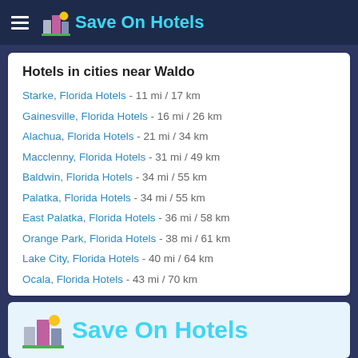Save On Hotels
Hotels in cities near Waldo
Starke, Florida Hotels - 11 mi / 17 km
Gainesville, Florida Hotels - 16 mi / 26 km
Alachua, Florida Hotels - 21 mi / 34 km
Macclenny, Florida Hotels - 31 mi / 49 km
Baldwin, Florida Hotels - 34 mi / 55 km
Palatka, Florida Hotels - 34 mi / 55 km
East Palatka, Florida Hotels - 36 mi / 58 km
Orange Park, Florida Hotels - 38 mi / 61 km
Lake City, Florida Hotels - 40 mi / 64 km
Ocala, Florida Hotels - 43 mi / 70 km
[Figure (logo): Save On Hotels footer logo with building icons]